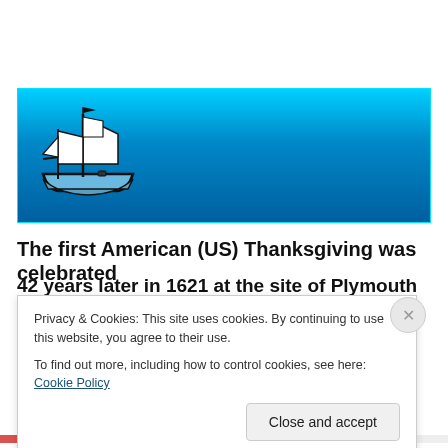[Figure (illustration): A banner with a gradient blue background (light cyan at top to dark blue at bottom) featuring a clipart illustration of a sailing ship (similar to the Mayflower) in black and white outline on the left side.]
The first American (US) Thanksgiving was celebrated
42 years later in 1621 at the site of Plymouth
Privacy & Cookies: This site uses cookies. By continuing to use this website, you agree to their use.
To find out more, including how to control cookies, see here: Cookie Policy
Close and accept